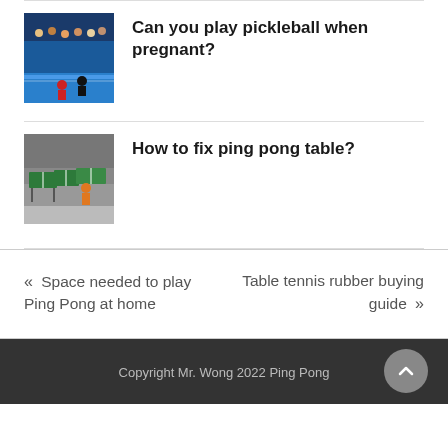[Figure (photo): Photo of pickleball players on court with spectators in background]
Can you play pickleball when pregnant?
[Figure (photo): Photo of ping pong tables in a sports hall with players in orange shirts]
How to fix ping pong table?
« Space needed to play Ping Pong at home
Table tennis rubber buying guide »
Copyright Mr. Wong 2022 Ping Pong